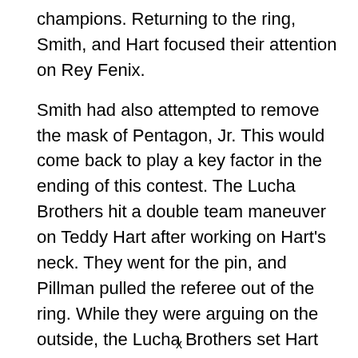champions. Returning to the ring, Smith, and Hart focused their attention on Rey Fenix.
Smith had also attempted to remove the mask of Pentagon, Jr. This would come back to play a key factor in the ending of this contest. The Lucha Brothers hit a double team maneuver on Teddy Hart after working on Hart's neck. They went for the pin, and Pillman pulled the referee out of the ring. While they were arguing on the outside, the Lucha Brothers set Hart on the top rope and looked to finish him off. Smith however through a monkey wrench in these
x